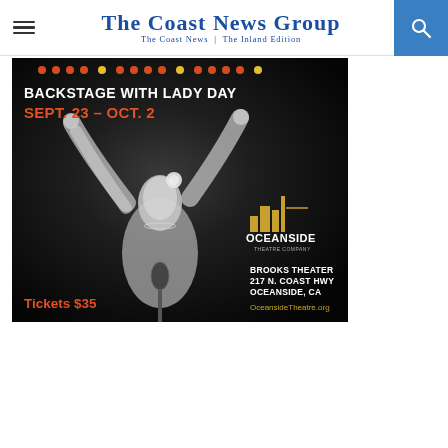The Coast News Group — The Coast News | The Inland Edition
[Figure (photo): Theater advertisement for 'Backstage with Lady Day' at Oceanside Theatre Company. Black and white photo of a woman in a white dress with arms raised above a vintage microphone, wearing a white flower in her hair. Text overlay: 'Backstage with Lady Day', 'Sept. 23 – Oct. 2', 'Tickets $35', Brooks Theater, 217 N. Coast Hwy, Oceanside, CA, OceansideTheatre.org]